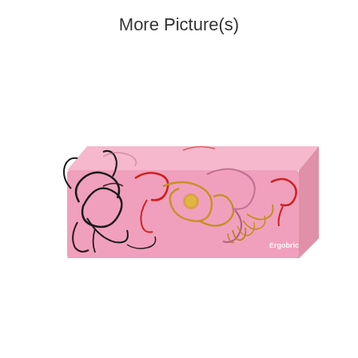More Picture(s)
[Figure (photo): A pink rectangular box/case with decorative dragon or phoenix swirl patterns in black, red, gold, and pink. The case has a slightly trapezoidal 3D shape viewed from an angle. A small brand logo appears in white on the lower right side.]